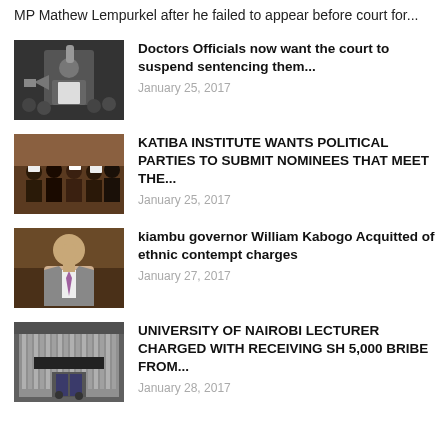MP Mathew Lempurkel after he failed to appear before court for...
[Figure (photo): Person in white shirt with fist raised, crowd in background]
Doctors Officials now want the court to suspend sentencing them...
January 25, 2017
[Figure (photo): Group of people at a formal event holding signs]
KATIBA INSTITUTE WANTS POLITICAL PARTIES TO SUBMIT NOMINEES THAT MEET THE...
January 25, 2017
[Figure (photo): Man in suit and tie, formal portrait]
kiambu governor William Kabogo Acquitted of ethnic contempt charges
January 27, 2017
[Figure (photo): University building exterior]
UNIVERSITY OF NAIROBI LECTURER CHARGED WITH RECEIVING SH 5,000 BRIBE FROM...
January 28, 2017